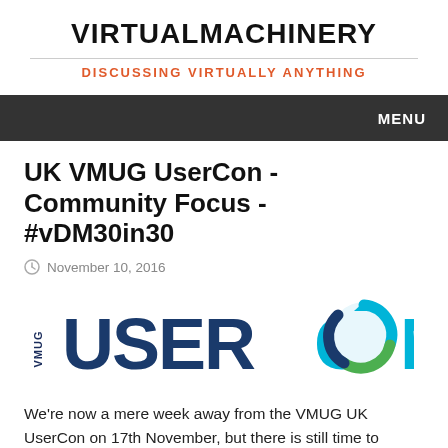VIRTUALMACHINERY
DISCUSSING VIRTUALLY ANYTHING
MENU
UK VMUG UserCon - Community Focus - #vDM30in30
November 10, 2016
[Figure (logo): VMUG UserCon logo with blue and teal text and circular arrow graphic]
We're now a mere week away from the VMUG UK UserCon on 17th November, but there is still time to register ahead the day itself. You should also remember that you can simply turn